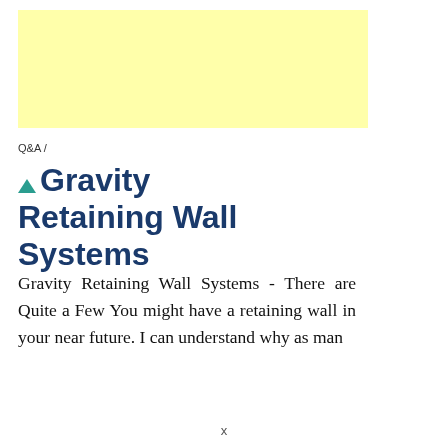[Figure (other): Yellow advertisement banner placeholder]
Q&A /
Gravity Retaining Wall Systems
Gravity Retaining Wall Systems - There are Quite a Few You might have a retaining wall in your near future. I can understand why as man
x